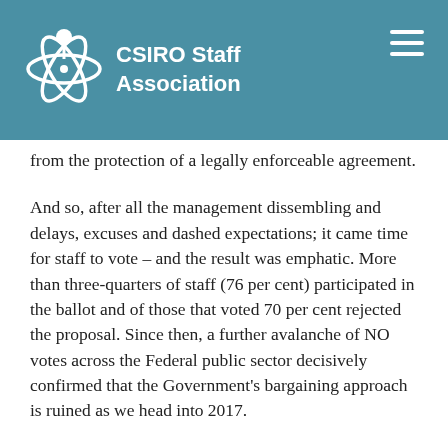CSIRO Staff Association
from the protection of a legally enforceable agreement.
And so, after all the management dissembling and delays, excuses and dashed expectations; it came time for staff to vote – and the result was emphatic. More than three-quarters of staff (76 per cent) participated in the ballot and of those that voted 70 per cent rejected the proposal. Since then, a further avalanche of NO votes across the Federal public sector decisively confirmed that the Government's bargaining approach is ruined as we head into 2017.
Just like the campaign throughout the year to protect jobs and research, Staff Association members stuck together in enterprise bargaining and displayed steely